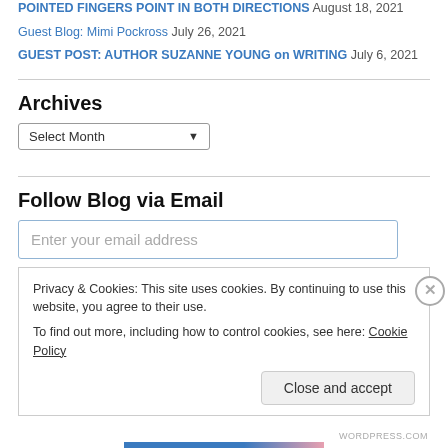POINTED FINGERS POINT IN BOTH DIRECTIONS August 18, 2021
Guest Blog: Mimi Pockross July 26, 2021
GUEST POST: AUTHOR SUZANNE YOUNG on WRITING July 6, 2021
Archives
Select Month
Follow Blog via Email
Enter your email address
Privacy & Cookies: This site uses cookies. By continuing to use this website, you agree to their use. To find out more, including how to control cookies, see here: Cookie Policy
Close and accept